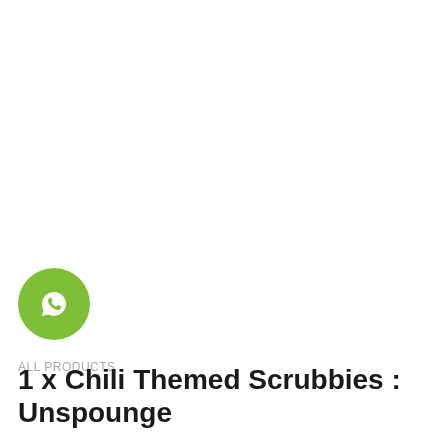[Figure (logo): WhatsApp icon - green circle with white WhatsApp logo]
ALL PRODUCTS
1 x Chili Themed Scrubbies : Unspounge